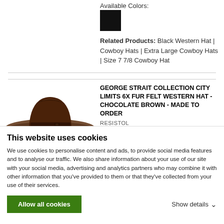Available Colors:
[Figure (other): Black color swatch square]
Related Products: Black Western Hat | Cowboy Hats | Extra Large Cowboy Hats | Size 7 7/8 Cowboy Hat
[Figure (photo): Brown fur felt western cowboy hat - George Strait Collection City Limits 6X, chocolate brown color]
GEORGE STRAIT COLLECTION CITY LIMITS 6X FUR FELT WESTERN HAT - CHOCOLATE BROWN - MADE TO ORDER
RESISTOL
...Western Hat as part of the George Strait collection. This
This website uses cookies
We use cookies to personalise content and ads, to provide social media features and to analyse our traffic. We also share information about your use of our site with your social media, advertising and analytics partners who may combine it with other information that you've provided to them or that they've collected from your use of their services.
Allow all cookies
Show details